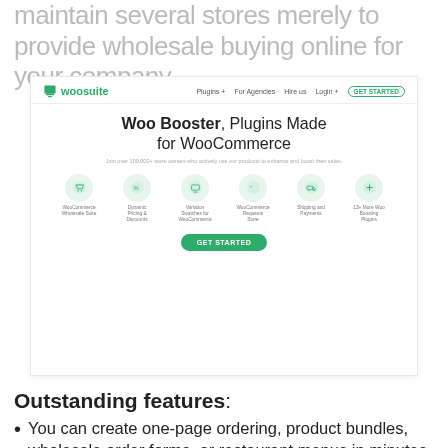maintain several stores merely to provide wholesale buying online for your company.
[Figure (screenshot): Screenshot of the Woosuite website homepage showing 'Woo Booster, Plugins Made for WooCommerce' hero title, navigation bar with Plugins, For Agencies, Hire us, Login menus and GET STARTED button, a subtitle about store owners using products to enhance and boost their sales, six icon circles (WooCommerce Wholesale Suite, Dynamic Pricing & Discounts, Variation Swatches for WooCommerce, WooCommerce Requests Store, Shipping and Payments, 13+ More Woo Boosting Plugins), and a green GET STARTED CTA button.]
Outstanding features:
You can create one-page ordering, product bundles, wholesale order forms, or restaurant menus in minutes.
You may use this plugin to create a custom registration form that is personalized—for